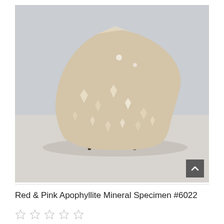[Figure (photo): A pale beige/cream colored apophyllite mineral specimen with a crystalline druzy surface texture, displayed on a small metal stand. The background is light gray at the top transitioning to a lighter surface at the bottom.]
Red & Pink Apophyllite Mineral Specimen #6022
☆ ☆ ☆ ☆ ☆